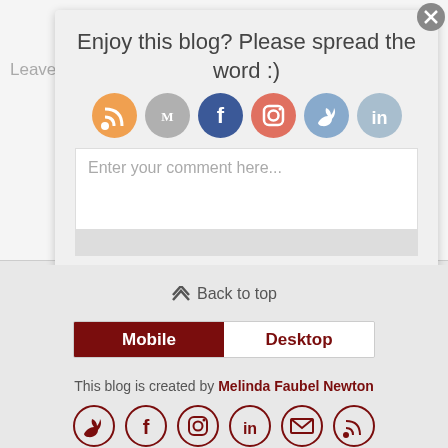[Figure (screenshot): Blog share popup overlay with title 'Enjoy this blog? Please spread the word :)' and social media icons (RSS, Medium, Facebook, Instagram, Twitter, LinkedIn), overlaid on a comment reply form]
Leave a Reply to Casey Cancel reply
Enter your comment here...
⋀ Back to top
[Figure (infographic): Mobile/Desktop toggle bar with Mobile selected (dark red) and Desktop unselected (white)]
This blog is created by Melinda Faubel Newton
[Figure (infographic): Row of 6 social media icon circles (Twitter, Facebook, Instagram, LinkedIn, Email, RSS) in dark red outline style]